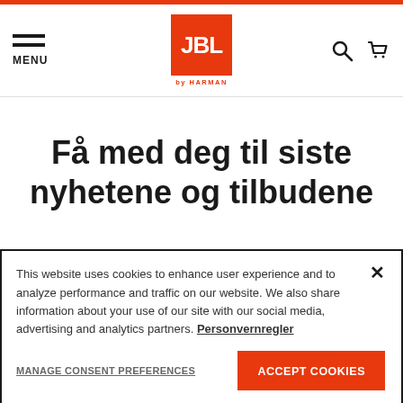[Figure (logo): JBL by Harman logo in orange square, with menu/search/cart nav icons]
Få med deg til siste nyhetene og tilbudene
This website uses cookies to enhance user experience and to analyze performance and traffic on our website. We also share information about your use of our site with our social media, advertising and analytics partners. Personvernregler
MANAGE CONSENT PREFERENCES   ACCEPT COOKIES